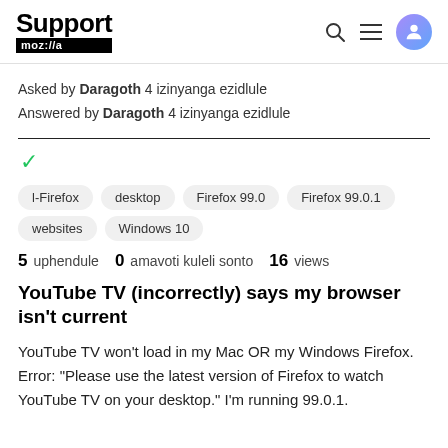Support moz://a
Asked by Daragoth 4 izinyanga ezidlule
Answered by Daragoth 4 izinyanga ezidlule
l-Firefox  desktop  Firefox 99.0  Firefox 99.0.1  websites  Windows 10
5 uphendule  0 amavoti kuleli sonto  16 views
YouTube TV (incorrectly) says my browser isn't current
YouTube TV won't load in my Mac OR my Windows Firefox. Error: "Please use the latest version of Firefox to watch YouTube TV on your desktop." I'm running 99.0.1.